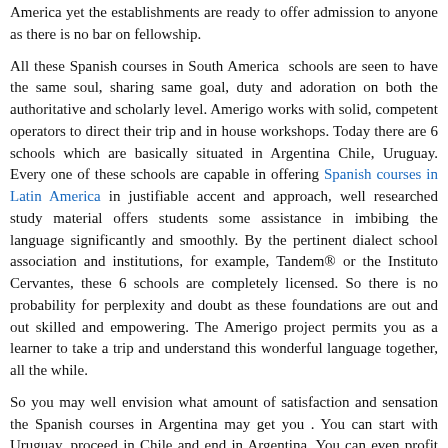America yet the establishments are ready to offer admission to anyone as there is no bar on fellowship.
All these Spanish courses in South America schools are seen to have the same soul, sharing same goal, duty and adoration on both the authoritative and scholarly level. Amerigo works with solid, competent operators to direct their trip and in house workshops. Today there are 6 schools which are basically situated in Argentina Chile, Uruguay. Every one of these schools are capable in offering Spanish courses in Latin America in justifiable accent and approach, well researched study material offers students some assistance in imbibing the language significantly and smoothly. By the pertinent dialect school association and institutions, for example, Tandem® or the Instituto Cervantes, these 6 schools are completely licensed. So there is no probability for perplexity and doubt as these foundations are out and out skilled and empowering. The Amerigo project permits you as a learner to take a trip and understand this wonderful language together, all the while.
So you may well envision what amount of satisfaction and sensation the Spanish courses in Argentina may get you . You can start with Uruguay, proceed in Chile and end in Argentina. You can even profit by Amerigo schools arranged